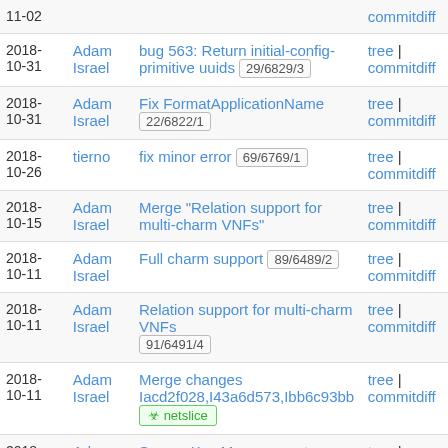| Date | Author | Message | Links |
| --- | --- | --- | --- |
| 2018-11-02 |  |  | commitdiff |
| 2018-10-31 | Adam Israel | bug 563: Return initial-config-primitive uuids 29/6829/3 | tree | commitdiff |
| 2018-10-31 | Adam Israel | Fix FormatApplicationName 22/6822/1 | tree | commitdiff |
| 2018-10-26 | tierno | fix minor error 69/6769/1 | tree | commitdiff |
| 2018-10-15 | Adam Israel | Merge "Relation support for multi-charm VNFs" | tree | commitdiff |
| 2018-10-11 | Adam Israel | Full charm support 89/6489/2 | tree | commitdiff |
| 2018-10-11 | Adam Israel | Relation support for multi-charm VNFs 91/6491/4 | tree | commitdiff |
| 2018-10-11 | Adam Israel | Merge changes Iacd2f028,I43a6d573,Ibb6c93bb [netslice] | tree | commitdiff |
| 2018-10-02 | Adam Israel | Secure Key Management 88/6488/2 | tree | commitdiff |
| 2018- | Adam | Improved integration tests 61/6561/2 | tree | |